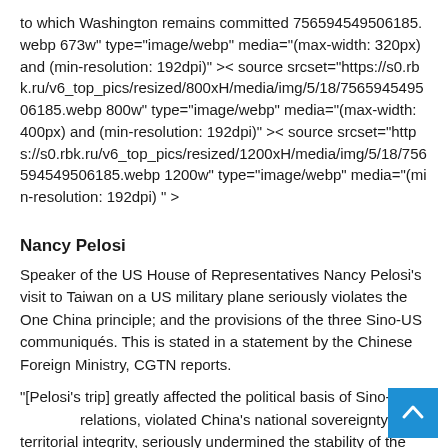to which Washington remains committed 756594549506185.webp 673w" type="image/webp" media="(max-width: 320px) and (min-resolution: 192dpi)" >< source srcset="https://s0.rbk.ru/v6_top_pics/resized/800xH/media/img/5/18/756594549506185.webp 800w" type="image/webp" media="(max-width: 400px) and (min-resolution: 192dpi)" >< source srcset="https://s0.rbk.ru/v6_top_pics/resized/1200xH/media/img/5/18/756594549506185.webp 1200w" type="image/webp" media="(min-resolution: 192dpi) " >
Nancy Pelosi
Speaker of the US House of Representatives Nancy Pelosi's visit to Taiwan on a US military plane seriously violates the One China principle; and the provisions of the three Sino-US communiqués. This is stated in a statement by the Chinese Foreign Ministry, CGTN reports.
"[Pelosi's trip] greatly affected the political basis of Sino-US relations, violated China's national sovereignty and territorial integrity, seriously undermined the stability of the Taiwan...